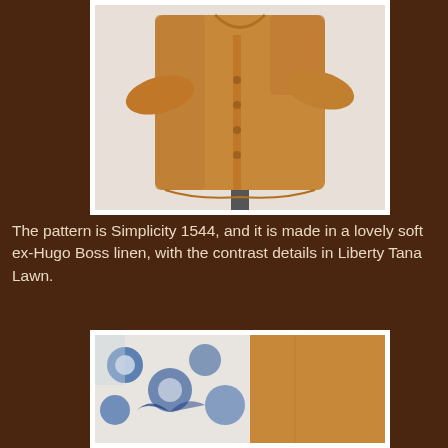[Figure (photo): A tan/camel-colored linen button-up shirt displayed on a mannequin or dress form, photographed against a light background. The shirt has long sleeves and a button-front placket.]
The pattern is Simplicity 1544, and it is made in a lovely soft ex-Hugo Boss linen, with the contrast details in Liberty Tana Lawn.
[Figure (photo): Close-up detail of the shirt showing the contrast Liberty Tana Lawn fabric at the cuff or collar area — a blue and white floral/decorative print — against the tan linen body of the shirt.]